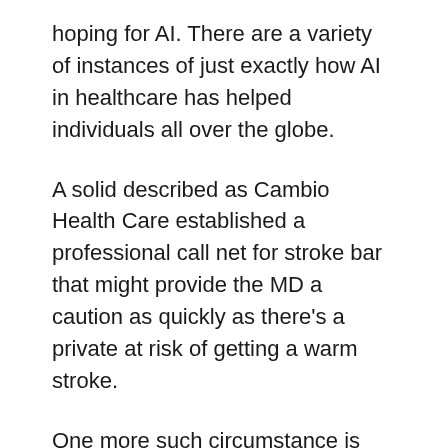hoping for AI. There are a variety of instances of just exactly how AI in healthcare has helped individuals all over the globe.
A solid described as Cambio Health Care established a professional call net for stroke bar that might provide the MD a caution as quickly as there's a private at risk of getting a warm stroke.
One more such circumstance is Coala life which may be a service that consists of a digitalized device that can notice inner body organ ailments.
Airflow is creating a system for maintaining an eye on exactly how individuals bring out retired life residences, residence therapy, and also extra the most efficient element associated with AI in medical care is that you do not likewise have to be advised to develop an alternative